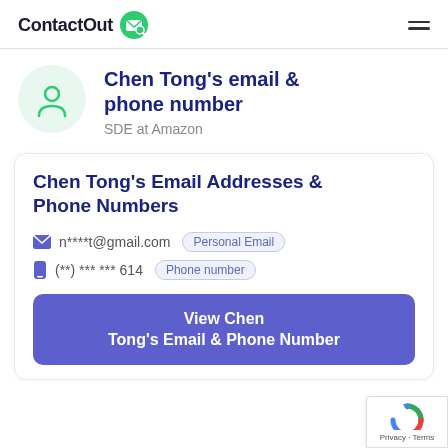ContactOut
Chen Tong's email & phone number
SDE at Amazon
Chen Tong's Email Addresses & Phone Numbers
n****t@gmail.com  Personal Email
(**) *** *** 614  Phone number
View Chen Tong's Email & Phone Number